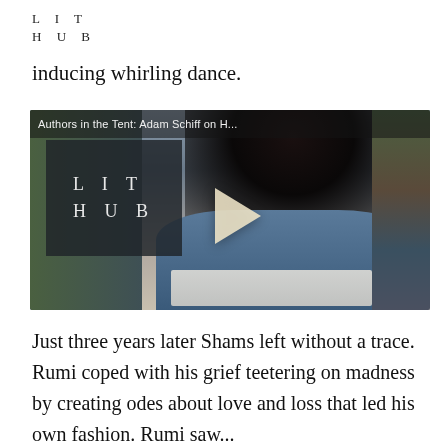L I T
H U B
inducing whirling dance.
[Figure (screenshot): Video thumbnail from Lit Hub showing a woman with dark hair reading from a book at a table, with LIT HUB logo visible on a dark panel to the left. Title bar reads 'Authors in the Tent: Adam Schiff on H...' A play button triangle is centered on the image.]
Just three years later Shams left without a trace. Rumi coped with his grief teetering on madness by creating odes about love and loss that led his own fashion. Rumi saw... He made the